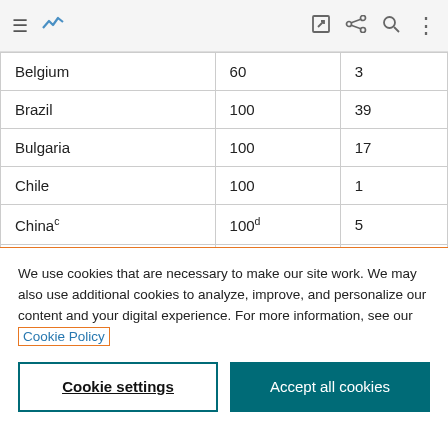Navigation bar with menu, chart icon, edit, share, search, and more icons
| Belgium | 60 | 3 |
| Brazil | 100 | 39 |
| Bulgaria | 100 | 17 |
| Chile | 100 | 1 |
| Chinaᶜ | 100ᵈ | 5 |
| Eswatini | 100 | 41 |
We use cookies that are necessary to make our site work. We may also use additional cookies to analyze, improve, and personalize our content and your digital experience. For more information, see our Cookie Policy
Cookie settings
Accept all cookies